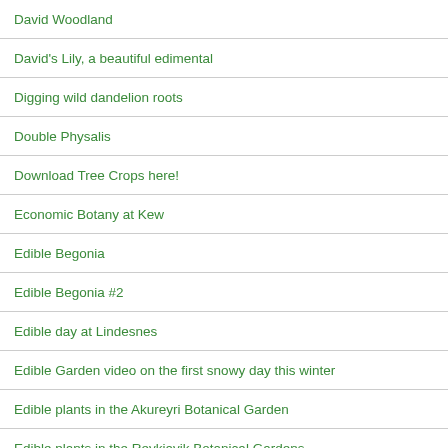David Woodland
David's Lily, a beautiful edimental
Digging wild dandelion roots
Double Physalis
Download Tree Crops here!
Economic Botany at Kew
Edible Begonia
Edible Begonia #2
Edible day at Lindesnes
Edible Garden video on the first snowy day this winter
Edible plants in the Akureyri Botanical Garden
Edible plants in the Reykjavik Botanical Gardens
Edible tour of Southampton Parks